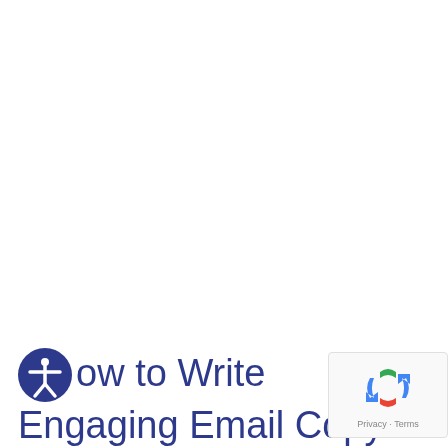How to Write Engaging Email Copy
[Figure (logo): reCAPTCHA badge with spinning logo and Privacy - Terms text]